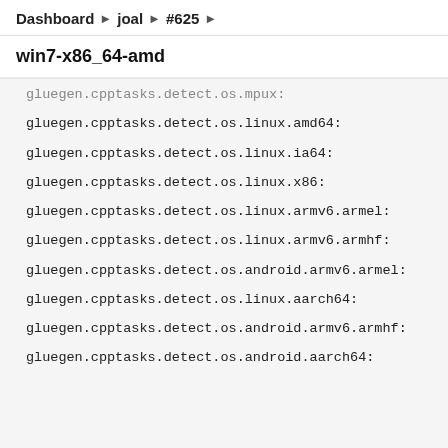Dashboard ▶ joal ▶ #625 ▶
win7-x86_64-amd
gluegen.cpptasks.detect.os.mpux:
gluegen.cpptasks.detect.os.linux.amd64:
gluegen.cpptasks.detect.os.linux.ia64:
gluegen.cpptasks.detect.os.linux.x86:
gluegen.cpptasks.detect.os.linux.armv6.armel:
gluegen.cpptasks.detect.os.linux.armv6.armhf:
gluegen.cpptasks.detect.os.android.armv6.armel:
gluegen.cpptasks.detect.os.linux.aarch64:
gluegen.cpptasks.detect.os.android.armv6.armhf:
gluegen.cpptasks.detect.os.android.aarch64: